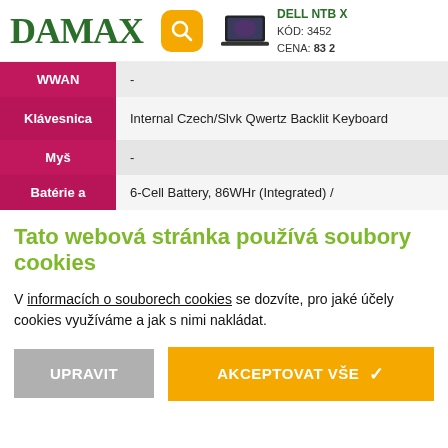DAMAX — DELL NTB X, KÓD: 3452, CENA: 83 2
|  |  |
| --- | --- |
| WWAN | - |
| Klávesnica | Internal Czech/Slvk Qwertz Backlit Keyboard |
| Myš | - |
| Batérie a | 6-Cell Battery, 86WHr (Integrated) / |
Tato webová stránka používá soubory cookies
V informacích o souborech cookies se dozvíte, pro jaké účely cookies využíváme a jak s nimi nakládat.
UPRAVIT   AKCEPTOVAT VŠE ✓